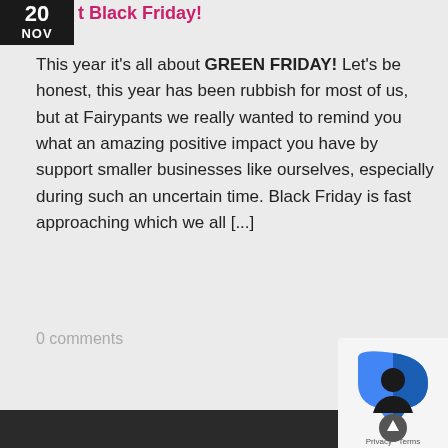t Black Friday!
This year it's all about GREEN FRIDAY! Let's be honest, this year has been rubbish for most of us, but at Fairypants we really wanted to remind you what an amazing positive impact you have by support smaller businesses like ourselves, especially during such an uncertain time. Black Friday is fast approaching which we all [...]
0 comments